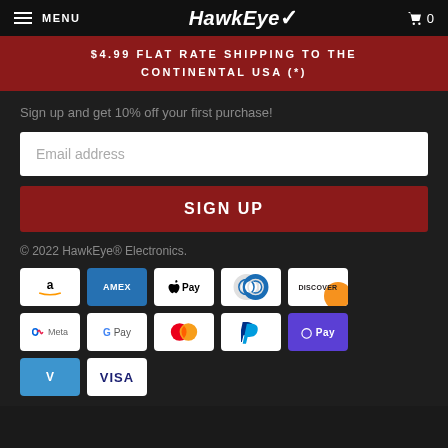MENU  HawkEye  0
$4.99 FLAT RATE SHIPPING TO THE CONTINENTAL USA (*)
Sign up and get 10% off your first purchase!
[Figure (infographic): Email address input field (white rectangle with placeholder text 'Email address')]
[Figure (infographic): SIGN UP button (dark red/maroon rectangle with white bold text 'SIGN UP')]
© 2022 HawkEye® Electronics.
[Figure (infographic): Payment method icons grid: Amazon, AMEX, Apple Pay, Diners Club, Discover, Meta, Google Pay, Mastercard, PayPal, O Pay, Venmo, VISA]